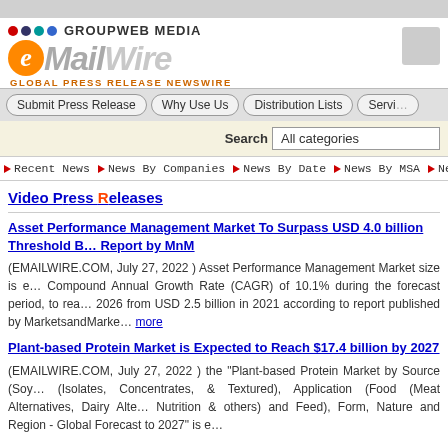GROUPWEB MEDIA - eMailWire Global Press Release Newswire
[Figure (logo): eMailWire logo with orange e-circle, gray MailWire text, and GLOBAL PRESS RELEASE NEWSWIRE tagline in orange]
Submit Press Release | Why Use Us | Distribution Lists | Services
Search All categories
Recent News | News By Companies | News By Date | News By MSA | Ne...
Video Press Releases
Asset Performance Management Market To Surpass USD 4.0 billion Threshold B... Report by MnM
(EMAILWIRE.COM, July 27, 2022 ) Asset Performance Management Market size is e... Compound Annual Growth Rate (CAGR) of 10.1% during the forecast period, to rea... 2026 from USD 2.5 billion in 2021 according to report published by MarketsandMarke... more
Plant-based Protein Market is Expected to Reach $17.4 billion by 2027
(EMAILWIRE.COM, July 27, 2022 ) the "Plant-based Protein Market by Source (Soy... (Isolates, Concentrates, & Textured), Application (Food (Meat Alternatives, Dairy Alte... Nutrition & others) and Feed), Form, Nature and Region - Global Forecast to 2027" is e...